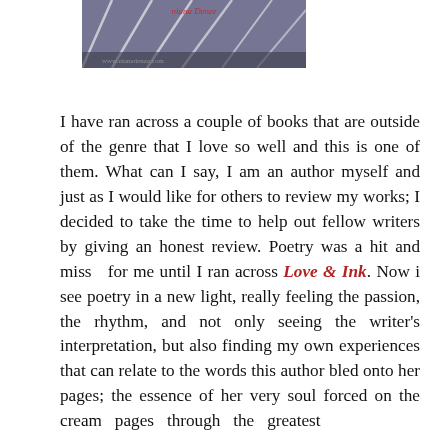[Figure (photo): Partial book cover image showing white lines on a dark background, partially cropped at the top]
I have ran across a couple of books that are outside of the genre that I love so well and this is one of them. What can I say, I am an author myself and just as I would like for others to review my works; I decided to take the time to help out fellow writers by giving an honest review. Poetry was a hit and miss  for me until I ran across Love & Ink. Now i see poetry in a new light, really feeling the passion, the rhythm, and not only seeing the writer's interpretation, but also finding my own experiences that can relate to the words this author bled onto her pages; the essence of her very soul forced on the cream  pages  through  the  greatest